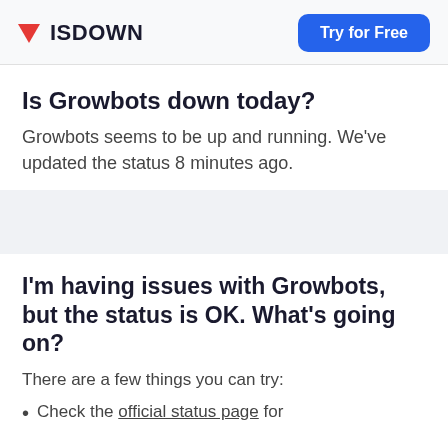ISDOWN | Try for Free
Is Growbots down today?
Growbots seems to be up and running. We've updated the status 8 minutes ago.
I'm having issues with Growbots, but the status is OK. What's going on?
There are a few things you can try:
Check the official status page for